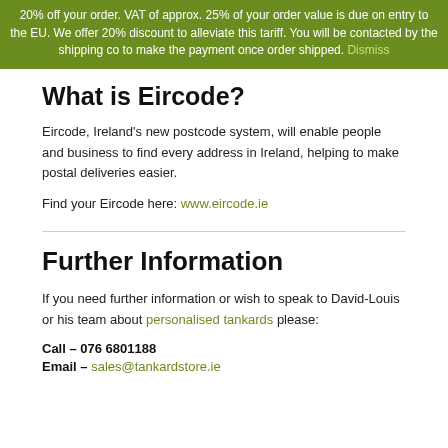20% off your order. VAT of approx. 25% of your order value is due on entry to the EU. We offer 20% discount to alleviate this tariff. You will be contacted by the shipping co to make the payment once order shipped. Dismiss
What is Eircode?
Eircode, Ireland's new postcode system, will enable people and business to find every address in Ireland, helping to make postal deliveries easier.
Find your Eircode here: www.eircode.ie
Further Information
If you need further information or wish to speak to David-Louis or his team about personalised tankards please:
Call – 076 6801188
Email – sales@tankardstore.ie